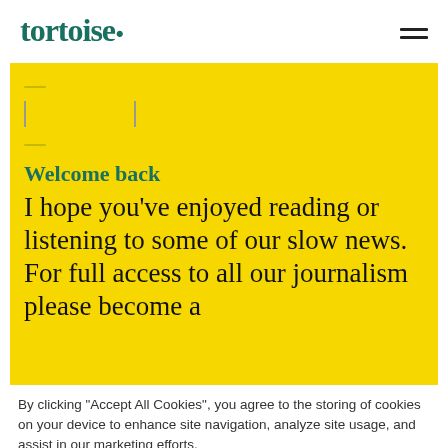tortoise·
[Figure (screenshot): Yellow promotional box with a login/input UI hint at the top, then bold green 'Welcome back' heading, followed by large serif body text: 'I hope you’ve enjoyed reading or listening to some of our slow news. For full access to all our journalism please become a']
By clicking “Accept All Cookies”, you agree to the storing of cookies on your device to enhance site navigation, analyze site usage, and assist in our marketing efforts.